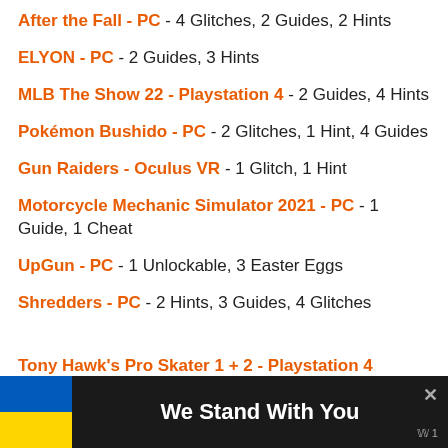After the Fall - PC - 4 Glitches, 2 Guides, 2 Hints
ELYON - PC - 2 Guides, 3 Hints
MLB The Show 22 - Playstation 4 - 2 Guides, 4 Hints
Pokémon Bushido - PC - 2 Glitches, 1 Hint, 4 Guides
Gun Raiders - Oculus VR - 1 Glitch, 1 Hint
Motorcycle Mechanic Simulator 2021 - PC - 1 Guide, 1 Cheat
UpGun - PC - 1 Unlockable, 3 Easter Eggs
Shredders - PC - 2 Hints, 3 Guides, 4 Glitches
Tony Hawk's Pro Skater 1 + 2 - Playstation 4